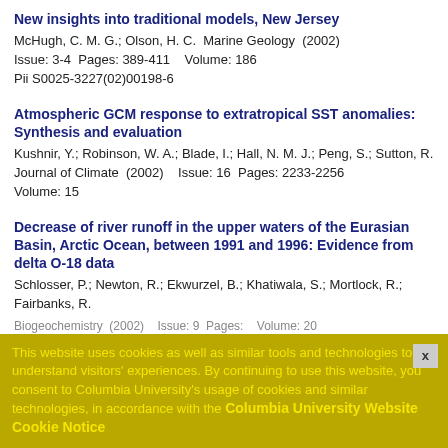New insights into traditional models, New Jersey
McHugh, C. M. G.; Olson, H. C.  Marine Geology  (2002)
Issue: 3-4  Pages: 389-411    Volume: 186
Pii S0025-3227(02)00198-6
Atmospheric GCM response to extratropical SST anomalies: Synthesis and evaluation
Kushnir, Y.; Robinson, W. A.; Blade, I.; Hall, N. M. J.; Peng, S.; Sutton, R.
Journal of Climate  (2002)    Issue: 16  Pages: 2233-2256
Volume: 15
Decrease of river runoff in the upper waters of the Eurasian Basin, Arctic Ocean, between 1991 and 1996: Evidence from delta O-18 data
Schlosser, P.; Newton, R.; Ekwurzel, B.; Khatiwala, S.; Mortlock, R.; Fairbanks, R.
Biogeochemistry (2002)    Issue: 9  Pages: ... Volume: 20  Doi:10.1029/2001gl013135
Tracing Amazon River water into the Caribbean Sea
Hellweger, F. L.; Gordon, A. L.  Journal of Marine Research  (2002)
Issue: 4  Pages: 537-549    Volume: 60
This website uses cookies as well as similar tools and technologies to understand visitors' experiences. By continuing to use this website, you consent to Columbia University's usage of cookies and similar technologies, in accordance with the Columbia University Website Cookie Notice